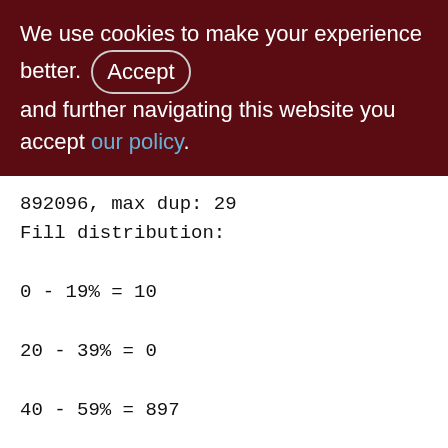We use cookies to make your experience better. By accepting and further navigating this website you accept our policy.
892096, max dup: 29
Fill distribution:
0 - 19% = 10
20 - 39% = 0
40 - 59% = 897
60 - 79% = 302
80 - 99% = 61

XQS_1000_3300 (266)
Primary pointer page: 678, Index root page: 679
Average record length: 66.44, total